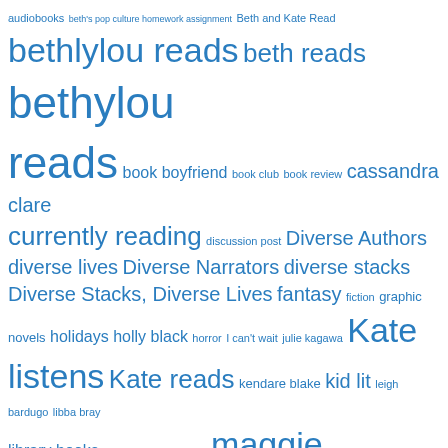[Figure (infographic): Tag cloud with various book/reading related tags in different font sizes, all in blue. Tags include: audiobooks, beth's pop culture homework assignment, Beth and Kate Read, bethlylou reads, beth reads, bethylou reads, book boyfriend, book club, book review, cassandra clare, currently reading, discussion post, Diverse Authors, diverse lives, Diverse Narrators, diverse stacks, Diverse Stacks Diverse Lives, fantasy, fiction, graphic novels, holidays, holly black, horror, I can't wait, julie kagawa, Kate listens, Kate reads, kendare blake, kid lit, leigh bardugo, libba bray, library books, lish mcbride, listening, maggie stiefvater, magnus chase and the gods of asgard, marie lu, marissa meyer, maureen johnson, memoir, mystery, mythology, New Adult, Non-Fiction, pop culture homework assignment, rainbow rowell, reading, reading challenge, red queen, Review, Reviews, rick riordan, romance, sarah i maas]